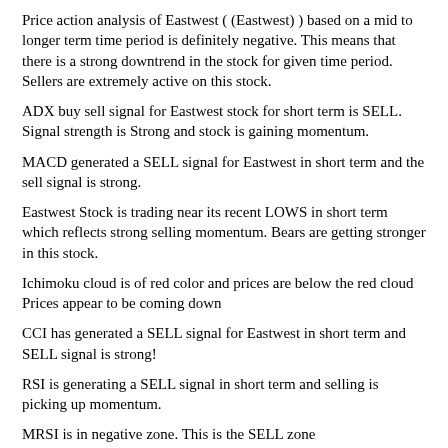Price action analysis of Eastwest ( (Eastwest) ) based on a mid to longer term time period is definitely negative. This means that there is a strong downtrend in the stock for given time period. Sellers are extremely active on this stock.
ADX buy sell signal for Eastwest stock for short term is SELL. Signal strength is Strong and stock is gaining momentum.
MACD generated a SELL signal for Eastwest in short term and the sell signal is strong.
Eastwest Stock is trading near its recent LOWS in short term which reflects strong selling momentum. Bears are getting stronger in this stock.
Ichimoku cloud is of red color and prices are below the red cloud Prices appear to be coming down
CCI has generated a SELL signal for Eastwest in short term and SELL signal is strong!
RSI is generating a SELL signal in short term and selling is picking up momentum.
MRSI is in negative zone. This is the SELL zone
Although the stock is in the SELL zone, but selling might be slowing down